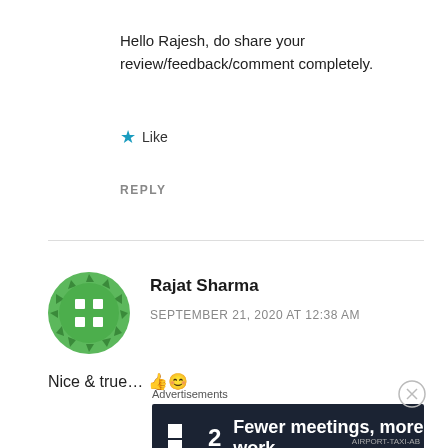Hello Rajesh, do share your review/feedback/comment completely.
★ Like
REPLY
Rajat Sharma
SEPTEMBER 21, 2020 AT 12:38 AM
Nice & true... 👍😊
Advertisements
[Figure (infographic): Dark advertisement banner reading '2 Fewer meetings, more work.' with a white square logo on the left]